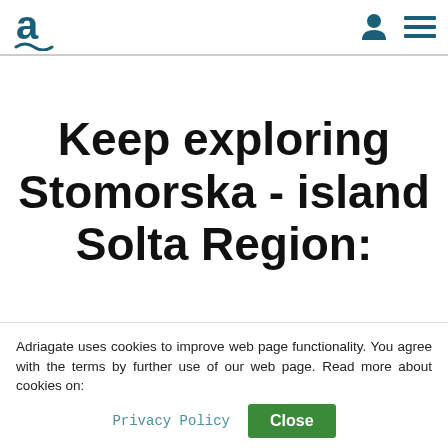Adriagate logo, user icon, menu icon
Keep exploring Stomorska - island Solta Region:
Adriagate uses cookies to improve web page functionality. You agree with the terms by further use of our web page. Read more about cookies on:
Privacy Policy  Close